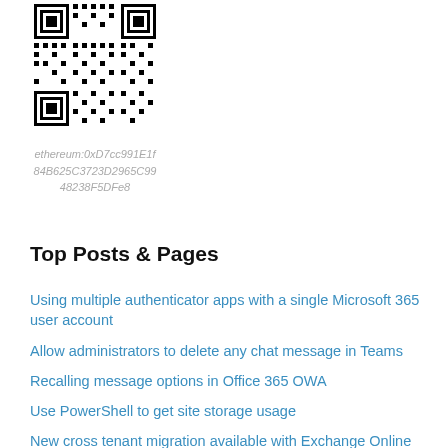[Figure (other): QR code image for an Ethereum address]
ethereum:0xD7cc991E1f84B625C3723D2965C9948238F5DFe8
Top Posts & Pages
Using multiple authenticator apps with a single Microsoft 365 user account
Allow administrators to delete any chat message in Teams
Recalling message options in Office 365 OWA
Use PowerShell to get site storage usage
New cross tenant migration available with Exchange Online